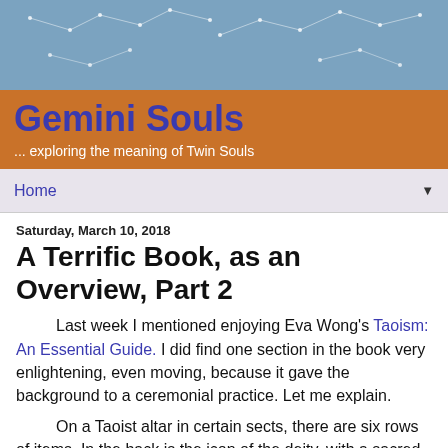[Figure (illustration): Blue header banner with constellation dot-and-line pattern on a steel blue background]
Gemini Souls
... exploring the meaning of Twin Souls
Home ▼
Saturday, March 10, 2018
A Terrific Book, as an Overview, Part 2
Last week I mentioned enjoying Eva Wong's Taoism: An Essential Guide.  I did find one section in the book very enlightening, even moving, because it gave the background to a ceremonial practice. Let me explain.
On a Taoist altar in certain sects, there are six rows of items.  In the back is the icon of the deity, with a sacred lamp directly in front of that.  In front of the lamp are two candles; the one on the right representing the moon, and the one of the left representing the sun.  In front of those are three